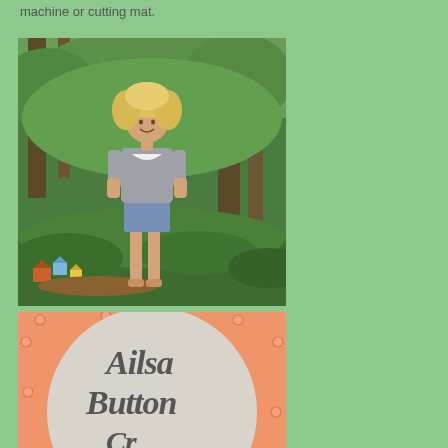machine or cutting mat.
[Figure (photo): A young woman with curly blonde hair stands in a lush green forest garden setting, wearing a grey t-shirt and denim shorts. There are small colorful birdhouses and fairy garden decorations around her feet.]
[Figure (logo): Ailsa Button logo on an orange/peach background with a large light grey circle in the center. Script text reads 'Ailsa Button' with additional text below partially visible. Small circle decorations dot the border.]